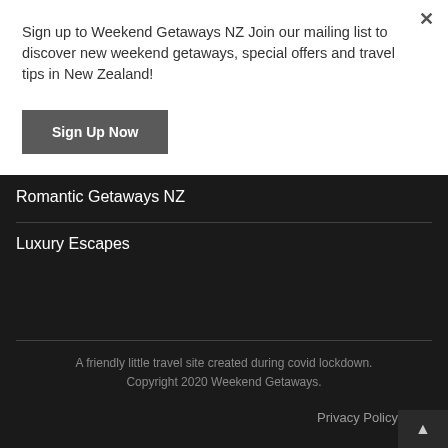Sign up to Weekend Getaways NZ Join our mailing list to discover new weekend getaways, special offers and travel tips in New Zealand!
Sign Up Now
Romantic Getaways NZ
Luxury Escapes
A friendly little travel site created during covid lockdown. Copyright 2020 Weekend Getaways.
Privacy Policy